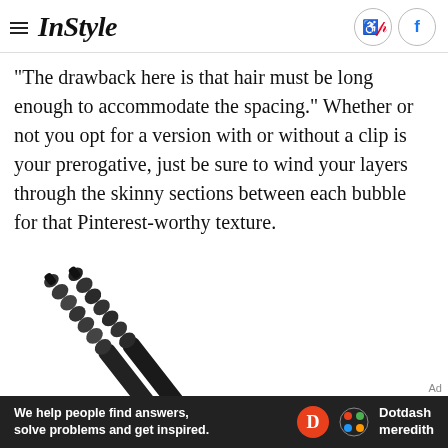InStyle
"The drawback here is that hair must be long enough to accommodate the spacing." Whether or not you opt for a version with or without a clip is your prerogative, just be sure to wind your layers through the skinny sections between each bubble for that Pinterest-worthy texture.
[Figure (photo): Two black bubble hair styling wands/curling irons shown diagonally against a white background.]
Ad
We help people find answers, solve problems and get inspired. Dotdash meredith